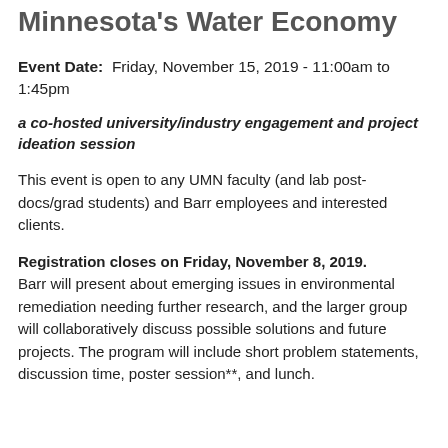Minnesota's Water Economy
Event Date:  Friday, November 15, 2019 - 11:00am to 1:45pm
a co-hosted university/industry engagement and project ideation session
This event is open to any UMN faculty (and lab post-docs/grad students) and Barr employees and interested clients.
Registration closes on Friday, November 8, 2019. Barr will present about emerging issues in environmental remediation needing further research, and the larger group will collaboratively discuss possible solutions and future projects. The program will include short problem statements, discussion time, poster session**, and lunch.